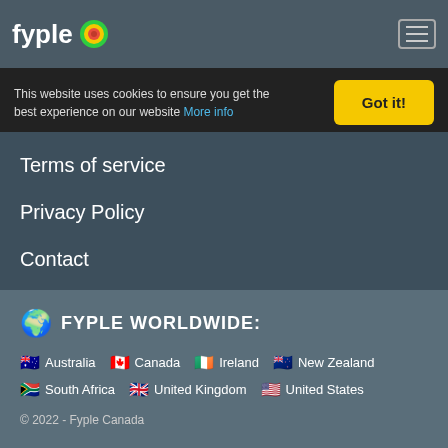fyple [logo] [hamburger menu]
This website uses cookies to ensure you get the best experience on our website More info [Got it! button]
Terms of service
Privacy Policy
Contact
🌍 FYPLE WORLDWIDE:
🇦🇺 Australia  🇨🇦 Canada  🇮🇪 Ireland  🇳🇿 New Zealand  🇿🇦 South Africa  🇬🇧 United Kingdom  🇺🇸 United States
© 2022 - Fyple Canada